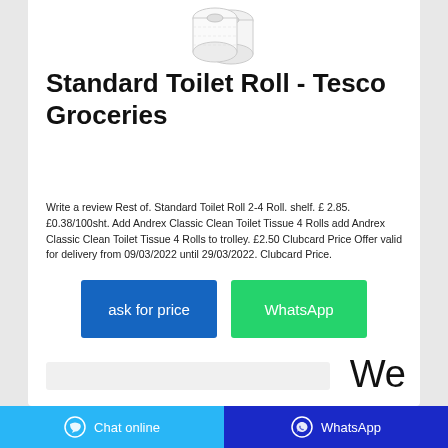[Figure (photo): Two rolls of toilet paper product image]
Standard Toilet Roll - Tesco Groceries
Write a review Rest of. Standard Toilet Roll 2-4 Roll. shelf. £ 2.85. £0.38/100sht. Add Andrex Classic Clean Toilet Tissue 4 Rolls add Andrex Classic Clean Toilet Tissue 4 Rolls to trolley. £2.50 Clubcard Price Offer valid for delivery from 09/03/2022 until 29/03/2022. Clubcard Price.
[Figure (screenshot): ask for price button (blue) and WhatsApp button (green)]
Chat online   WhatsApp